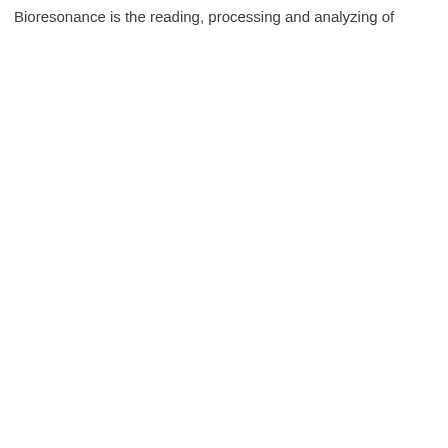Bioresonance is the reading, processing and analyzing of